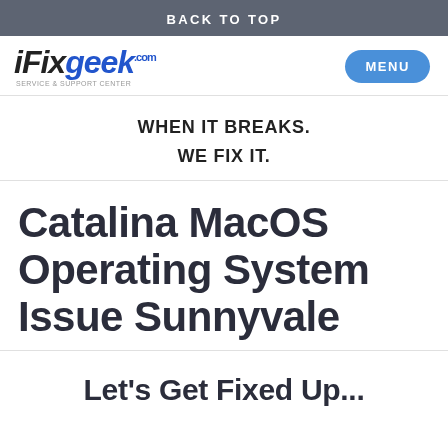BACK TO TOP
[Figure (logo): iFixgeek.com logo with tagline SERVICE & SUPPORT CENTER]
MENU
WHEN IT BREAKS.
WE FIX IT.
Catalina MacOS Operating System Issue Sunnyvale
Let's Get Fixed Up...